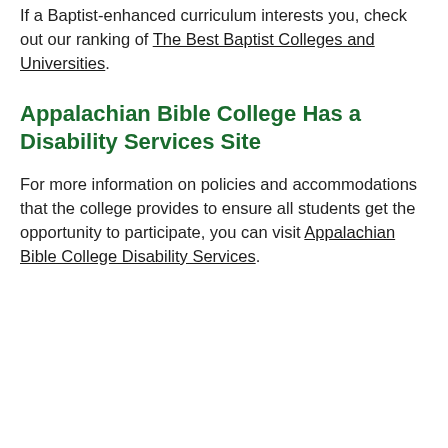If a Baptist-enhanced curriculum interests you, check out our ranking of The Best Baptist Colleges and Universities.
Appalachian Bible College Has a Disability Services Site
For more information on policies and accommodations that the college provides to ensure all students get the opportunity to participate, you can visit Appalachian Bible College Disability Services.